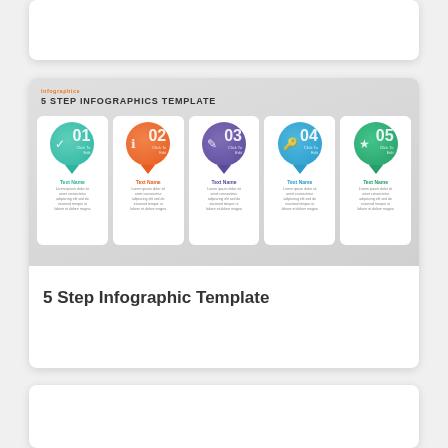[Figure (infographic): 5 Step Infographics Template — a thumbnail card showing 5 colored speech-bubble step icons (teal, orange, purple, blue, green) labeled 01–05, each with a title 'Text Name' and placeholder body text, on a gray gradient background.]
5 Step Infographic Template